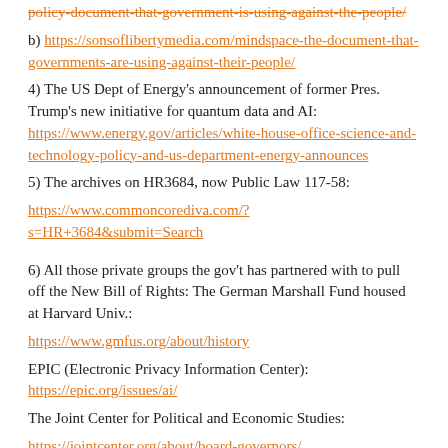b) https://sonsoflibertymedia.com/mindspace-the-document-that-governments-are-using-against-their-people/
4) The US Dept of Energy's announcement of former Pres. Trump's new initiative for quantum data and AI: https://www.energy.gov/articles/white-house-office-science-and-technology-policy-and-us-department-energy-announces
5) The archives on HR3684, now Public Law 117-58: https://www.commoncorediva.com/?s=HR+3684&submit=Search
6) All those private groups the gov't has partnered with to pull off the New Bill of Rights: The German Marshall Fund housed at Harvard Univ.: https://www.gmfus.org/about/history
EPIC (Electronic Privacy Information Center): https://epic.org/issues/ai/
The Joint Center for Political and Economic Studies: https://jointcenter.org/about/board-governors/